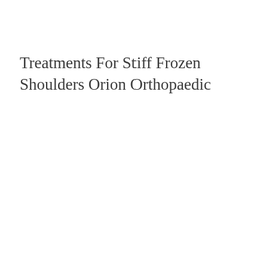Treatments For Stiff Frozen Shoulders Orion Orthopaedic